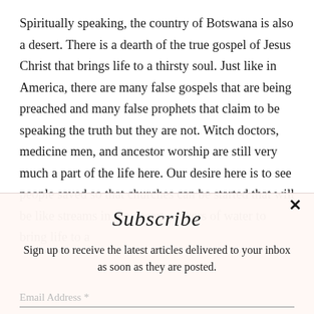Spiritually speaking, the country of Botswana is also a desert. There is a dearth of the true gospel of Jesus Christ that brings life to a thirsty soul. Just like in America, there are many false gospels that are being preached and many false prophets that claim to be speaking the truth but they are not. Witch doctors, medicine men, and ancestor worship are still very much a part of the life here. Our desire here is to see people saved so that churches can be started that will be like streams in the desert—rivers of water to bring life to a
Subscribe
Sign up to receive the latest articles delivered to your inbox as soon as they are posted.
Email Address *